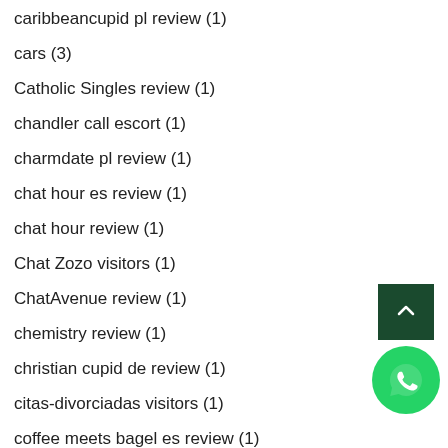caribbeancupid pl review (1)
cars (3)
Catholic Singles review (1)
chandler call escort (1)
charmdate pl review (1)
chat hour es review (1)
chat hour review (1)
Chat Zozo visitors (1)
ChatAvenue review (1)
chemistry review (1)
christian cupid de review (1)
citas-divorciadas visitors (1)
coffee meets bagel es review (1)
[Figure (other): Scroll to top button - dark green square with upward chevron arrow]
[Figure (other): WhatsApp contact button - green circle with phone handset icon]